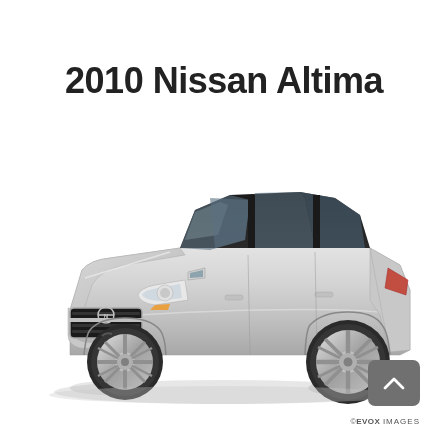2010 Nissan Altima
[Figure (photo): Silver 2010 Nissan Altima sedan photographed from a front three-quarter angle on a white background, showing the front grille with Nissan logo, headlights, front bumper, side profile with door handles, alloy wheels, and rear quarter panel.]
©EVOX IMAGES